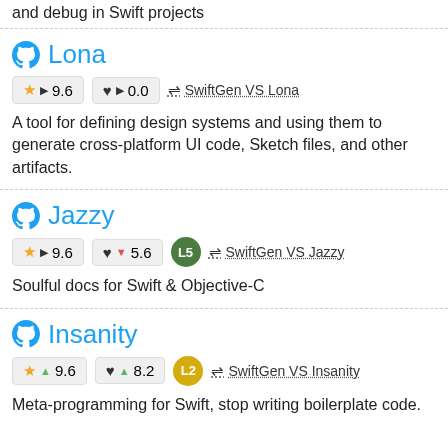and debug in Swift projects
Lona
★ ▶ 9.6   ♥ ▶ 0.0   ⇌ SwiftGen VS Lona
A tool for defining design systems and using them to generate cross-platform UI code, Sketch files, and other artifacts.
Jazzy
★ ▶ 9.6   ♥ ▼ 5.6   L5   ⇌ SwiftGen VS Jazzy
Soulful docs for Swift & Objective-C
Insanity
★ ▲ 9.6   ♥ ▲ 8.2   L2   ⇌ SwiftGen VS Insanity
Meta-programming for Swift, stop writing boilerplate code.